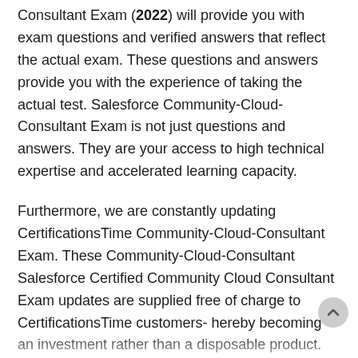Consultant Exam (2022) will provide you with exam questions and verified answers that reflect the actual exam. These questions and answers provide you with the experience of taking the actual test. Salesforce Community-Cloud-Consultant Exam is not just questions and answers. They are your access to high technical expertise and accelerated learning capacity.
Furthermore, we are constantly updating CertificationsTime Community-Cloud-Consultant Exam. These Community-Cloud-Consultant Salesforce Certified Community Cloud Consultant Exam updates are supplied free of charge to CertificationsTime customers- hereby becoming an investment rather than a disposable product. CertificationsTime clients receive the most reliable and up-to-date information when they decide to take the exam, just contact us. CertificationsTime candidates walk into the